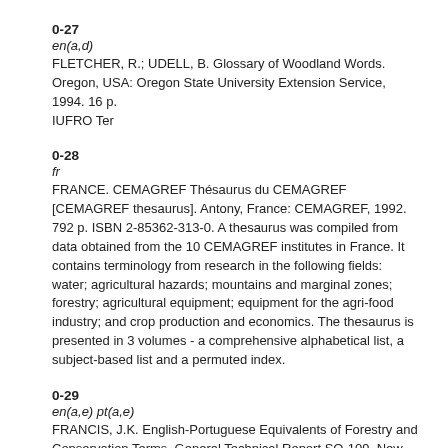0-27
en(a,d)
FLETCHER, R.; UDELL, B. Glossary of Woodland Words. Oregon, USA: Oregon State University Extension Service, 1994. 16 p.
IUFRO Ter
0-28
fr
FRANCE. CEMAGREF Thésaurus du CEMAGREF [CEMAGREF thesaurus]. Antony, France: CEMAGREF, 1992. 792 p. ISBN 2-85362-313-0. A thesaurus was compiled from data obtained from the 10 CEMAGREF institutes in France. It contains terminology from research in the following fields: water; agricultural hazards; mountains and marginal zones; forestry; agricultural equipment; equipment for the agri-food industry; and crop production and economics. The thesaurus is presented in 3 volumes - a comprehensive alphabetical list, a subject-based list and a permuted index.
0-29
en(a,e) pt(a,e)
FRANCIS, J.K. English-Portuguese Equivalents of Forestry and Conservation Terms. General Technical Report SO-109. New Orleans, LA: U.S. Department of Agriculture, Forest Service, Southern Forest Experiment Station, 1994. 45 p.
IUFRO Ter